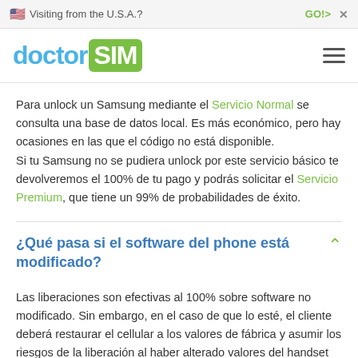🇺🇸 Visiting from the U.S.A.?   GO!>   ×
[Figure (logo): doctorSIM logo with 'doctor' in blue and 'SIM' in white on green background, hamburger menu icon on right]
Para unlock un Samsung mediante el Servicio Normal se consulta una base de datos local. Es más económico, pero hay ocasiones en las que el código no está disponible. Si tu Samsung no se pudiera unlock por este servicio básico te devolveremos el 100% de tu pago y podrás solicitar el Servicio Premium, que tiene un 99% de probabilidades de éxito.
¿Qué pasa si el software del phone está modificado?
Las liberaciones son efectivas al 100% sobre software no modificado. Sin embargo, en el caso de que lo esté, el cliente deberá restaurar el cellular a los valores de fábrica y asumir los riesgos de la liberación al haber alterado valores del handset necesarios para la liberación.